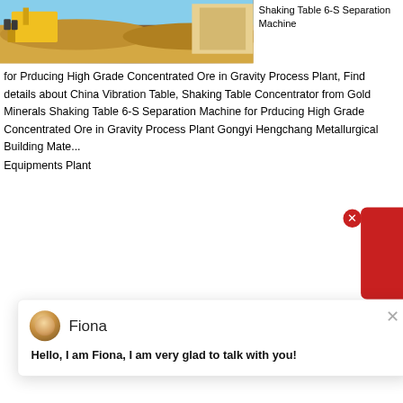[Figure (photo): Mining/industrial facility with yellow equipment and sandy/rocky outdoor setting]
Shaking Table 6-S Separation Machine for Prducing High Grade Concentrated Ore in Gravity Process Plant, Find details about China Vibration Table, Shaking Table Concentrator from Gold Minerals Shaking Table 6-S Separation Machine for Prducing High Grade Concentrated Ore in Gravity Process Plant Gongyi Hengchang Metallurgical Building Mate... Equipments Plant
[Figure (screenshot): Chat popup with avatar of Fiona, showing greeting message]
Fiona
Hello, I am Fiona, I am very glad to talk with you!
[Figure (photo): Mining site with large stone/concrete walls and heavy machinery/crusher equipment]
Shaking Table For Gold Separating
China Gold Vibration Shaking Table for Gold Separating Mining Separator, Find details about China Shaking Table, Mining Concentration from Gold Vibration Shaking Table for Gold